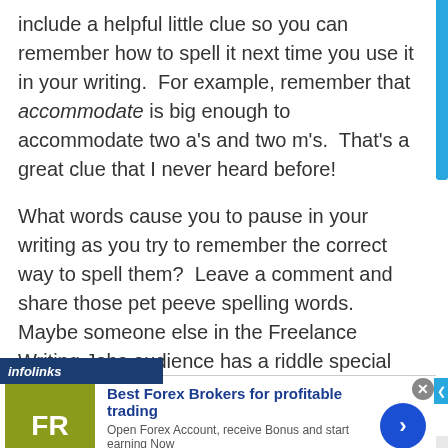include a helpful little clue so you can remember how to spell it next time you use it in your writing.  For example, remember that accommodate is big enough to accommodate two a's and two m's.  That's a great clue that I never heard before!
What words cause you to pause in your writing as you try to remember the correct way to spell them?  Leave a comment and share those pet peeve spelling words.  Maybe someone else in the Freelance Writing Jobs audience has a riddle special way to remember the correct spelling!
[Figure (other): Infolinks ad banner for Best Forex Brokers showing FR logo on olive/yellow background, with text 'Best Forex Brokers for profitable trading', 'Open Forex Account, receive Bonus and start earning Now', 'forex-ratings.com', and a blue circular arrow button]